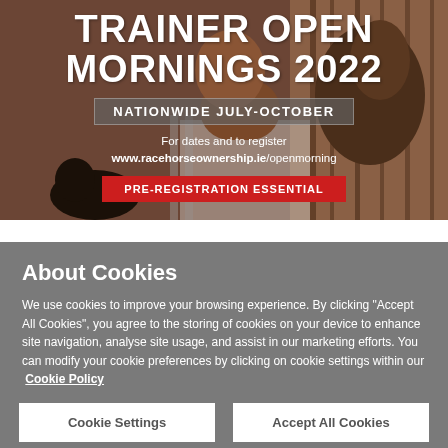[Figure (photo): Trainer Open Mornings 2022 promotional banner with horses in stables background. Text overlay: TRAINER OPEN MORNINGS 2022, NATIONWIDE JULY-OCTOBER, For dates and to register www.racehorseownership.ie/openmorning, PRE-REGISTRATION ESSENTIAL (in red button)]
About Cookies
We use cookies to improve your browsing experience. By clicking “Accept All Cookies”, you agree to the storing of cookies on your device to enhance site navigation, analyse site usage, and assist in our marketing efforts. You can modify your cookie preferences by clicking on cookie settings within our  Cookie Policy